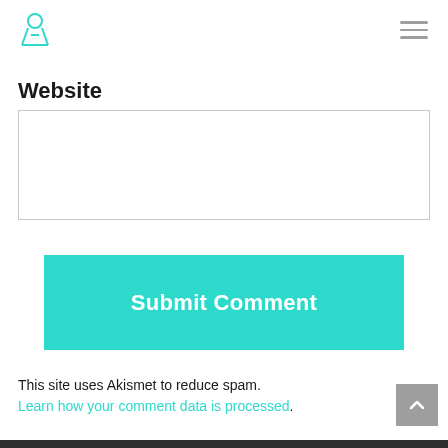Logo and navigation menu icon
Website
[Figure (screenshot): Empty text input field for website URL]
[Figure (screenshot): Submit Comment button in teal/cyan color]
This site uses Akismet to reduce spam. Learn how your comment data is processed.